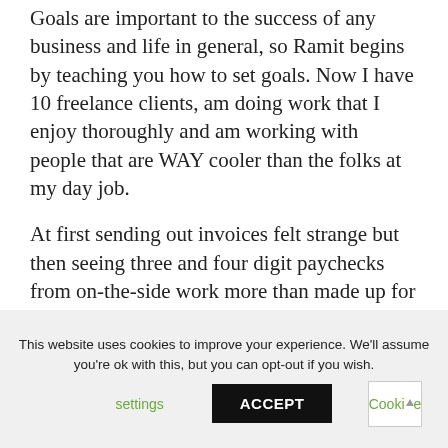Goals are important to the success of any business and life in general, so Ramit begins by teaching you how to set goals. Now I have 10 freelance clients, am doing work that I enjoy thoroughly and am working with people that are WAY cooler than the folks at my day job.
At first sending out invoices felt strange but then seeing three and four digit paychecks from on-the-side work more than made up for it.
This website uses cookies to improve your experience. We'll assume you're ok with this, but you can opt-out if you wish. Cookie settings ACCEPT